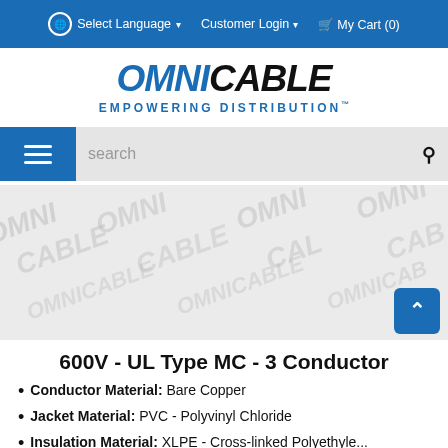Select Language ▾   Customer Login ▾   🛒 My Cart (0)
[Figure (logo): OmniCable - Empowering Distribution logo]
[Figure (screenshot): Search bar with hamburger menu button]
[Figure (photo): OmniCable watermark product image placeholder with scroll-to-top button]
600V - UL Type MC - 3 Conductor
Conductor Material: Bare Copper
Jacket Material: PVC - Polyvinyl Chloride
Insulation Material: XLPE - Cross-linked Polyethylene